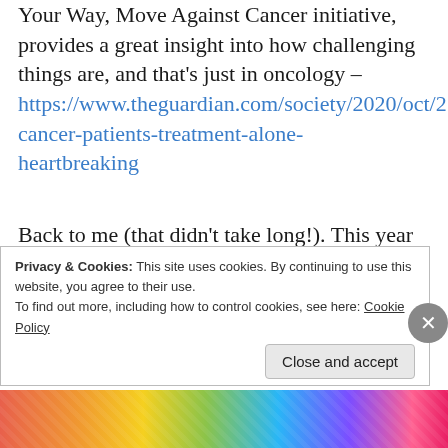Your Way, Move Against Cancer initiative, provides a great insight into how challenging things are, and that's just in oncology – https://www.theguardian.com/society/2020/oct/2...cancer-patients-treatment-alone-heartbreaking
Back to me (that didn't take long!). This year I've found it hard to write Christmas cards. My heart has just not been in it. The naively exuberant words that that are printed in some of the cards somehow seem inappropriate
Privacy & Cookies: This site uses cookies. By continuing to use this website, you agree to their use. To find out more, including how to control cookies, see here: Cookie Policy
Close and accept